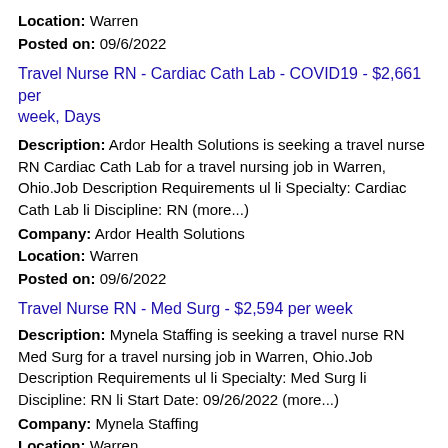Location: Warren
Posted on: 09/6/2022
Travel Nurse RN - Cardiac Cath Lab - COVID19 - $2,661 per week, Days
Description: Ardor Health Solutions is seeking a travel nurse RN Cardiac Cath Lab for a travel nursing job in Warren, Ohio.Job Description Requirements ul li Specialty: Cardiac Cath Lab li Discipline: RN (more...)
Company: Ardor Health Solutions
Location: Warren
Posted on: 09/6/2022
Travel Nurse RN - Med Surg - $2,594 per week
Description: Mynela Staffing is seeking a travel nurse RN Med Surg for a travel nursing job in Warren, Ohio.Job Description Requirements ul li Specialty: Med Surg li Discipline: RN li Start Date: 09/26/2022 (more...)
Company: Mynela Staffing
Location: Warren
Posted on: 09/6/2022
Caregiver - Overnights